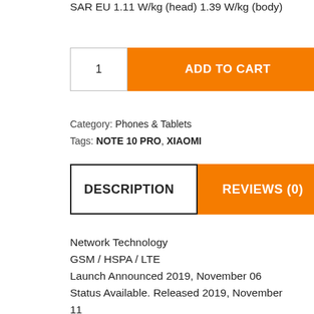SAR EU 1.11 W/kg (head) 1.39 W/kg (body)
1  ADD TO CART
Category: Phones & Tablets
Tags: NOTE 10 PRO, XIAOMI
DESCRIPTION  REVIEWS (0)
Network Technology
GSM / HSPA / LTE
Launch Announced 2019, November 06
Status Available. Released 2019, November 11
Body Dimensions 157.8 x 74.2 x 9.7 mm (6.21 x 2.92 x 0.38 in)